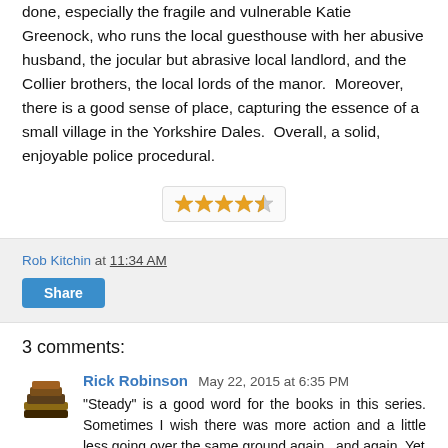done, especially the fragile and vulnerable Katie Greenock, who runs the local guesthouse with her abusive husband, the jocular but abrasive local landlord, and the Collier brothers, the local lords of the manor.  Moreover, there is a good sense of place, capturing the essence of a small village in the Yorkshire Dales.  Overall, a solid, enjoyable police procedural.
[Figure (other): Star rating graphic showing approximately 4 out of 5 stars in gold/yellow color inside a rounded rectangle box]
Rob Kitchin at 11:34 AM
Share
3 comments:
Rick Robinson May 22, 2015 at 6:35 PM
"Steady" is a good word for the books in this series. Sometimes I wish there was more action and a little less going over the same ground again...and again. Yet